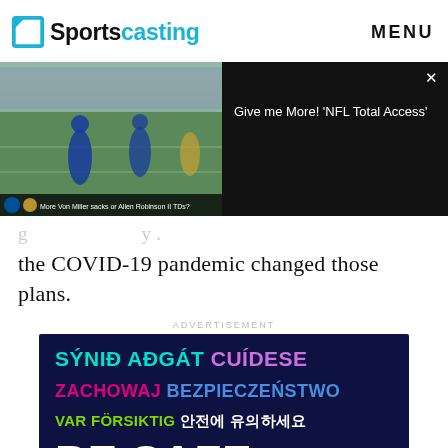Sportscasting  MENU
[Figure (screenshot): Split video area: left side shows NFL football practice field with players in blue uniforms, right side shows black video player with text 'Give me More! NFL Total Access' and a close X button]
the COVID-19 pandemic changed those plans.
ADVERTISEMENT
[Figure (infographic): Dark navy ad banner with multilingual 'BE SAFE' message. Lines: 'SÝNIĐ AÐGÁT CUÍDESE' in cyan and purple, 'ZACHOWAJ BEZPIECZEŃSTWO' in pink/magenta, 'VAR FÖRSIKTIG 안전에 유의하세요' in green and white, 'BE SAFE' in large white bold text]